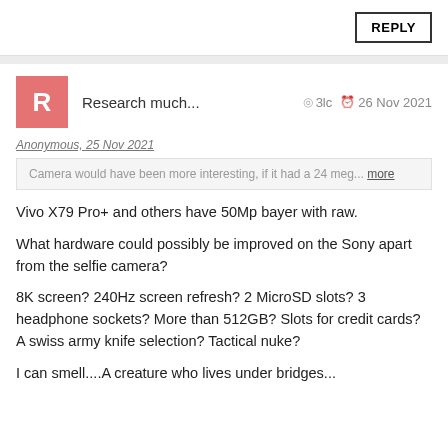REPLY
Research much...
3lc  26 Nov 2021
Anonymous, 25 Nov 2021
Camera would have been more interesting, if it had a 24 meg... more
Vivo X79 Pro+ and others have 50Mp bayer with raw.

What hardware could possibly be improved on the Sony apart from the selfie camera?

8K screen? 240Hz screen refresh? 2 MicroSD slots? 3 headphone sockets? More than 512GB? Slots for credit cards? A swiss army knife selection? Tactical nuke?

I can smell....A creature who lives under bridges...